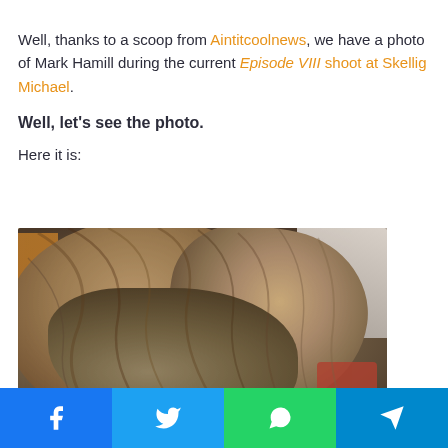Well, thanks to a scoop from Aintitcoolnews, we have a photo of Mark Hamill during the current Episode VIII shoot at Skellig Michael.
Well, let's see the photo.
Here it is:
[Figure (photo): A blurry close-up photograph showing the top and back of a person's head with messy grey-brown hair. Background shows orange and red elements on the left and a muted grey/red background on the right.]